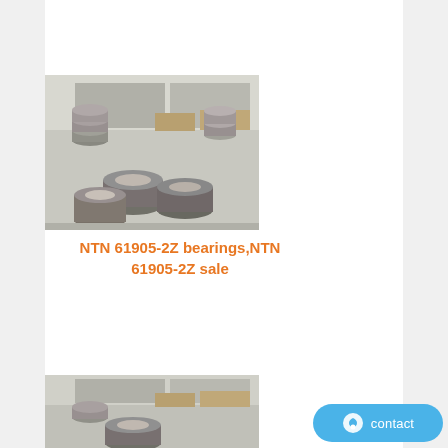[Figure (photo): Industrial warehouse photo showing large quantities of NTN ball bearings stacked and arranged in rows on a factory floor, with stacks of ring-shaped metal bearings visible throughout.]
NTN 61905-2Z bearings,NTN 61905-2Z sale
[Figure (photo): Second industrial warehouse photo showing the same or similar scene of NTN ball bearings and flanged bearing rings arranged on a factory floor.]